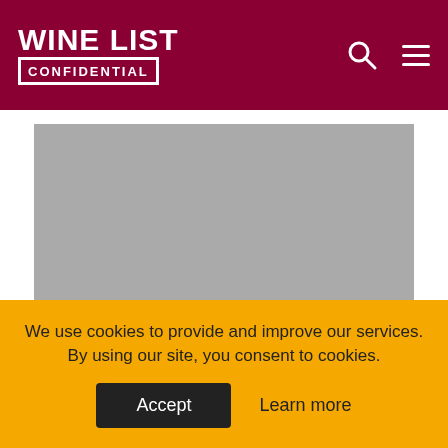WINE LIST CONFIDENTIAL
[Figure (photo): Gray placeholder image for an article photo]
Fresh Legal Action Launched Against Government's Covid Restrictions
We use cookies to provide and improve our services. By using our site, you consent to cookies.